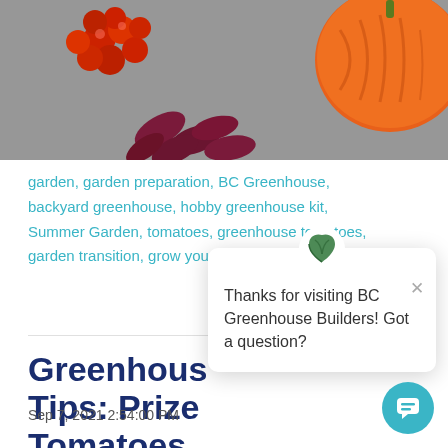[Figure (photo): Photograph of vegetables including cherry tomatoes, kidney beans, and a large pumpkin on a grey surface.]
garden, garden preparation, BC Greenhouse, backyard greenhouse, hobby greenhouse kit, Summer Garden, tomatoes, greenhouse tomatoes, garden transition, grow your own food
Greenhouse Tips: Prize Tomatoes
[Figure (screenshot): Chat popup widget from BC Greenhouse Builders with a green leaf logo, close button, and message: Thanks for visiting BC Greenhouse Builders! Got a question?]
Sep 7, 2021 2:54:00 PM